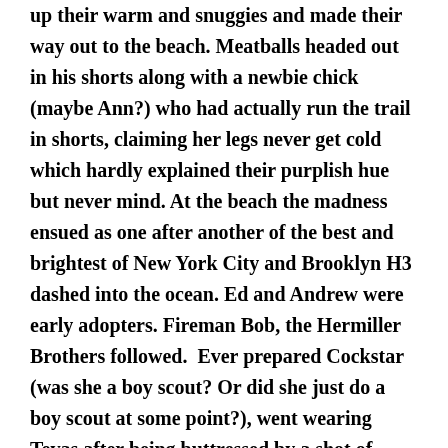up their warm and snuggies and made their way out to the beach. Meatballs headed out in his shorts along with a newbie chick (maybe Ann?) who had actually run the trail in shorts, claiming her legs never get cold which hardly explained their purplish hue but never mind. At the beach the madness ensued as one after another of the best and brightest of New York City and Brooklyn H3 dashed into the ocean. Ed and Andrew were early adopters. Fireman Bob, the Hermiller Brothers followed.  Ever prepared Cockstar (was she a boy scout? Or did she just do a boy scout at some point?), went wearing Tevas after being buttressed by a shot of Chivas.  Meatballs, JJG, Maria and Shaina holding hands, Dave Too Long was a bit late to the party but a polar bear none the less. Aw hell, just about everybody went in. Easier to mention the sane, warm ones among